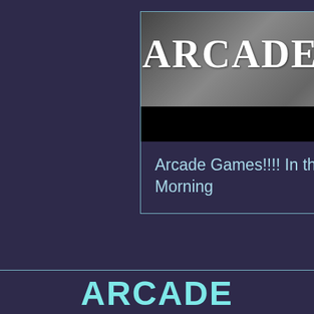[Figure (screenshot): A card-style UI element with a photo of arcade game machines at the top showing large text 'ARCADE GAME' overlaid, a black bar below the photo, and a dark purple caption area displaying the title 'Arcade Games!!!! In the Morning']
Arcade Games!!!! In the Morning
ARCADE